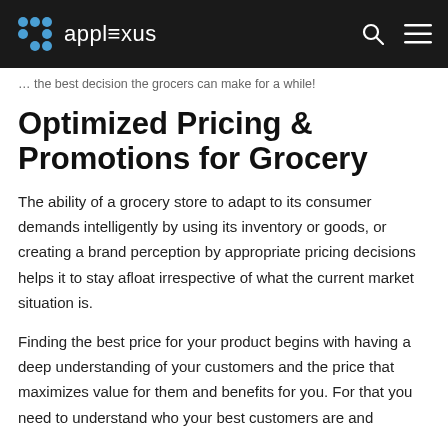applexus
the best decision the grocers can make for a while!
Optimized Pricing & Promotions for Grocery
The ability of a grocery store to adapt to its consumer demands intelligently by using its inventory or goods, or creating a brand perception by appropriate pricing decisions helps it to stay afloat irrespective of what the current market situation is.
Finding the best price for your product begins with having a deep understanding of your customers and the price that maximizes value for them and benefits for you. For that you need to understand who your best customers are and